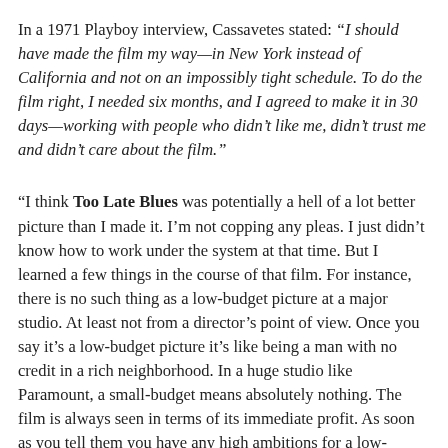In a 1971 Playboy interview, Cassavetes stated: “I should have made the film my way—in New York instead of California and not on an impossibly tight schedule. To do the film right, I needed six months, and I agreed to make it in 30 days—working with people who didn’t like me, didn’t trust me and didn’t care about the film.”
“I think Too Late Blues was potentially a hell of a lot better picture than I made it. I’m not copping any pleas. I just didn’t know how to work under the system at that time. But I learned a few things in the course of that film. For instance, there is no such thing as a low-budget picture at a major studio. At least not from a director’s point of view. Once you say it’s a low-budget picture it’s like being a man with no credit in a rich neighborhood. In a huge studio like Paramount, a small-budget means absolutely nothing. The film is always seen in terms of its immediate profit. As soon as you tell them you have any high ambitions for a low-budget picture, they look at you as if you were a complete